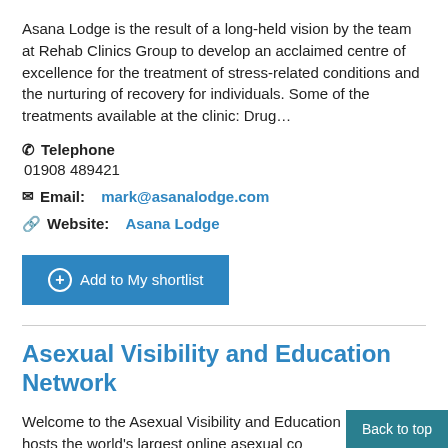Asana Lodge is the result of a long-held vision by the team at Rehab Clinics Group to develop an acclaimed centre of excellence for the treatment of stress-related conditions and the nurturing of recovery for individuals. Some of the treatments available at the clinic: Drug…
✆ Telephone
01908 489421
✉ Email: mark@asanalodge.com
↗ Website: Asana Lodge
+ Add to My shortlist
Asexual Visibility and Education Network
Welcome to the Asexual Visibility and Education N… AVEN hosts the world's largest online asexual co…
Back to top